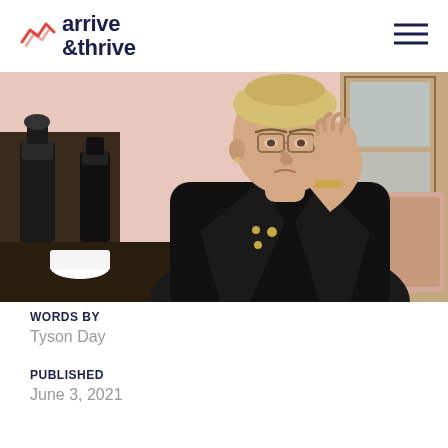arrive & thrive
[Figure (photo): A young woman with glasses and a black blazer sitting at a desk, resting her chin on her hand, with an open MacBook laptop in front of her and coffee equipment in the background]
WORDS BY
Tyson Day
PUBLISHED
June 3, 2021